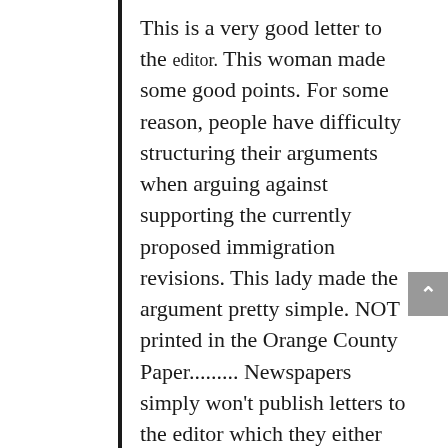This is a very good letter to the editor. This woman made some good points. For some reason, people have difficulty structuring their arguments when arguing against supporting the currently proposed immigration revisions. This lady made the argument pretty simple. NOT printed in the Orange County Paper......... Newspapers simply won't publish letters to the editor which they either deem politically incorrect (read below) or which does not agree with the philosophy they're pushing on the public. This woman wrote a great letter to the editor that should have been published; but, with your help it